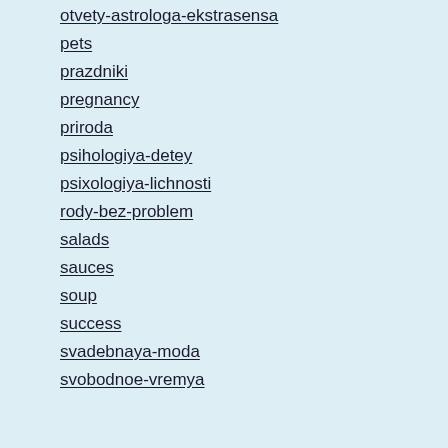otvety-astrologa-ekstrasensa
pets
prazdniki
pregnancy
priroda
psihologiya-detey
psixologiya-lichnosti
rody-bez-problem
salads
sauces
soup
success
svadebnaya-moda
svobodnoe-vremya